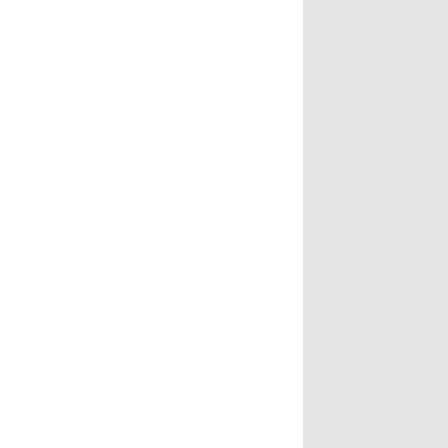| Year | Method | Value |
| --- | --- | --- |
| 2011 | LMTF | 6.62606994 |
| 2014 | LMTI | 6.62607034 |
| 2015 | LMTF | 6.62607022 |
| 2015 | LMTI | 6.62606936 |
| 2016 | LMTI | 6.62606983 |
| 2017 | LMTF | 6.62607013 |
| 2017 | LMTF | 6.62607040 |
| 2017 | LMTI | 6.62606921 |
| 2017 | LMTI | 6.62606993 |
| 2017 | LMTF | 6.62607013 |
| 2017 | LMTI | 6.62607040 |
| 2018 | LMTI | 6.62607015 |
* Data are introduced in [28].
Following the method IARU, one can an... into account the following data: (ε_min)_L... obtained from the experimental results o...
2·K⁻¹ [23]. In this case, the possible obse...